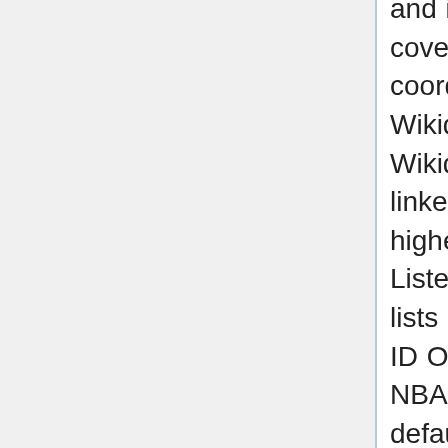and imported to Wikidata with statements covering basic information such as area, type, coordinates and national IDs. After that, existing Wikidata items, which were located inside the Wikidata items from the national registers, were linked together using 'part of' property to get higher granularity in the data. SPARQL and Listeria were used to create target monuments lists of the Wikidata items that had either an NBA ID OR were part of a Wikidata item that had an NBA ID. Wikidata was also used for adding the default descriptions and Commons categories to the photos. In addition, a separate mobile map based on Wikishootme by Magnus Manske was used. The jury used Montage for photo evaluation.
The collaboration proved to be